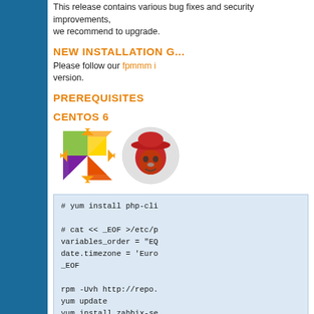This release contains various bug fixes and security improvements, we recommend to upgrade.
NEW INSTALLATION G...
Please follow our fpmmm i... version.
PREREQUISITES
CENTOS 6
[Figure (logo): CentOS logo (colorful pinwheel) and Red Hat logo (red fedora mascot) side by side]
# yum install php-cli

# cat << _EOF >/etc/p
variables_order = "EQ
date.timezone = 'Euro
_EOF

rpm -Uvh http://repo.
yum update
yum install zabbix-se